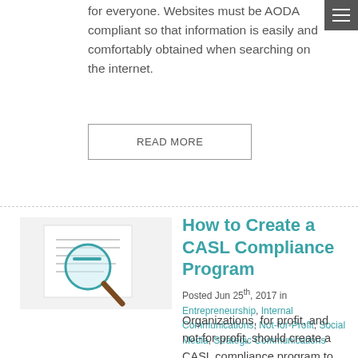for everyone. Websites must be AODA compliant so that information is easily and comfortably obtained when searching on the internet.
READ MORE
[Figure (photo): Thumbnail image showing a magnifying glass over a document with text]
How to Create a CASL Compliance Program
Posted Jun 25th, 2017 in Entrepreneurship, Internal Communications, Not-for-Profit, Social Media, Strategic Communications
Organizations, for profit, and not-for-profit, should create a CASL compliance program to reduce the risks of sending electronic messages that could be considered SPAM.